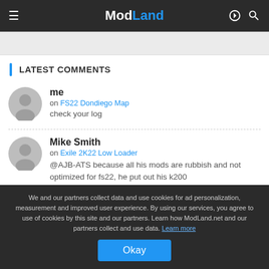ModLand
LATEST COMMENTS
me
on FS22 Dondiego Map
check your log
Mike Smith
on Exile 2K22 Low Loader
@AJB-ATS because all his mods are rubbish and not optimized for fs22, he put out his k200
We and our partners collect data and use cookies for ad personalization, measurement and improved user experience. By using our services, you agree to use of cookies by this site and our partners. Learn how ModLand.net and our partners collect and use data. Learn more